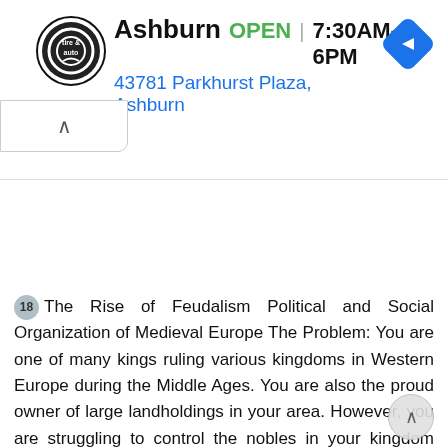[Figure (screenshot): Advertisement banner for Virginia Tire & Auto, Ashburn location. Shows logo, OPEN status, hours 7:30AM–6PM, address 43781 Parkhurst Plaza, Ashburn, and a blue navigation diamond icon. Controls include a play/skip triangle and X button on the left, and a collapse chevron-up button below.]
18 The Rise of Feudalism Political and Social Organization of Medieval Europe The Problem: You are one of many kings ruling various kingdoms in Western Europe during the Middle Ages. You are also the proud owner of large landholdings in your area. However, you are struggling to control the nobles in your kingdom who are fighting each other to expand their landholdings and increase their